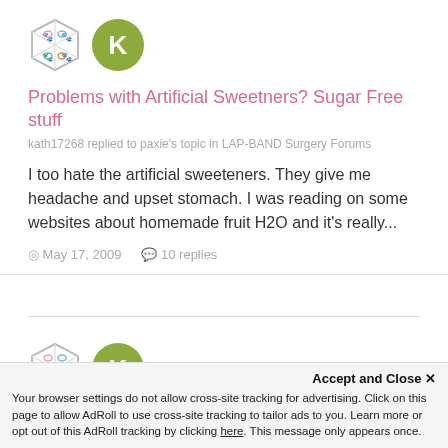[Figure (illustration): Two avatar icons: a hexagonal placeholder avatar with colorful swirl icons inside, and a green circle with the letter K]
Problems with Artificial Sweetners? Sugar Free stuff
kath17268 replied to paxie's topic in LAP-BAND Surgery Forums
I too hate the artificial sweeteners. They give me headache and upset stomach. I was reading on some websites about homemade fruit H2O and it's really...
May 17, 2009   10 replies
[Figure (illustration): Two avatar icons: a hexagonal placeholder avatar with colorful swirl icons inside, and a green circle with the letter K]
what besides WATER
Accept and Close ✕
Your browser settings do not allow cross-site tracking for advertising. Click on this page to allow AdRoll to use cross-site tracking to tailor ads to you. Learn more or opt out of this AdRoll tracking by clicking here. This message only appears once.